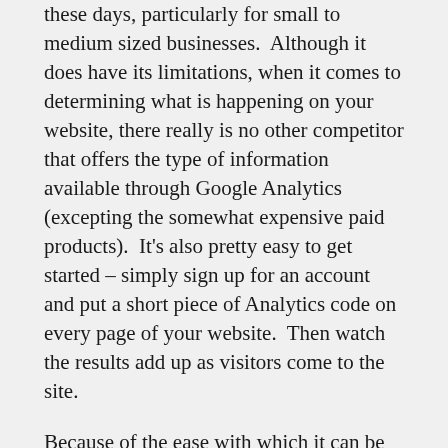these days, particularly for small to medium sized businesses. Although it does have its limitations, when it comes to determining what is happening on your website, there really is no other competitor that offers the type of information available through Google Analytics (excepting the somewhat expensive paid products). It's also pretty easy to get started – simply sign up for an account and put a short piece of Analytics code on every page of your website. Then watch the results add up as visitors come to the site.
Because of the ease with which it can be used, it is a very simple act to add Google Analytics to a website. Indeed, most developers do this automatically as a matter of routine for a new site (although I still see some developers charge a substantial amount for what is a very simple, short, and routine process). However, tapping into the real power of analytics requires more than just the basic implementation. It requires that website goals and objectives are determined, and that